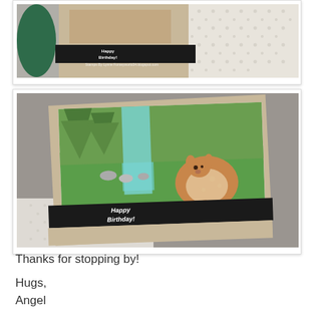[Figure (photo): Close-up photo of a handmade birthday card with a kraft cardstock base, black banner with 'Happy Birthday!' text in white, and a nature scene inset.]
[Figure (photo): Close-up photo of a handmade birthday card showing a watercolor scene with a fawn/deer, pine trees, and a stream, with a black banner reading 'Happy Birthday!' in white text, on a kraft cardstock base.]
Thanks for stopping by!
Hugs,
Angel